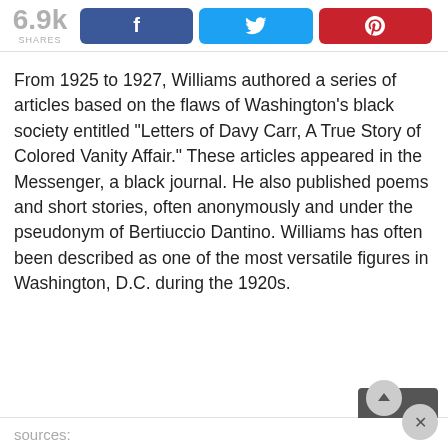6.9k SHARES
From 1925 to 1927, Williams authored a series of articles based on the flaws of Washington’s black society entitled “Letters of Davy Carr, A True Story of Colored Vanity Affair.” These articles appeared in the Messenger, a black journal. He also published poems and short stories, often anonymously and under the pseudonym of Bertiuccio Dantino. Williams has often been described as one of the most versatile figures in Washington, D.C. during the 1920s.
sources: